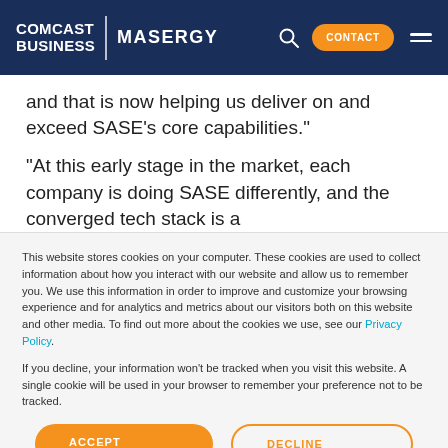COMCAST BUSINESS | MASERGY
and that is now helping us deliver on and exceed SASE’s core capabilities.”
“At this early stage in the market, each company is doing SASE differently, and the converged tech stack is a
This website stores cookies on your computer. These cookies are used to collect information about how you interact with our website and allow us to remember you. We use this information in order to improve and customize your browsing experience and for analytics and metrics about our visitors both on this website and other media. To find out more about the cookies we use, see our Privacy Policy.
If you decline, your information won’t be tracked when you visit this website. A single cookie will be used in your browser to remember your preference not to be tracked.
ACCEPT
DECLINE